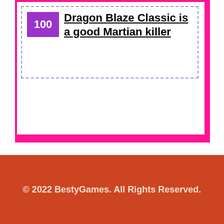Dragon Blaze Classic is a good Martian killer
© 2022 BestyGames. All Rights Reserved.